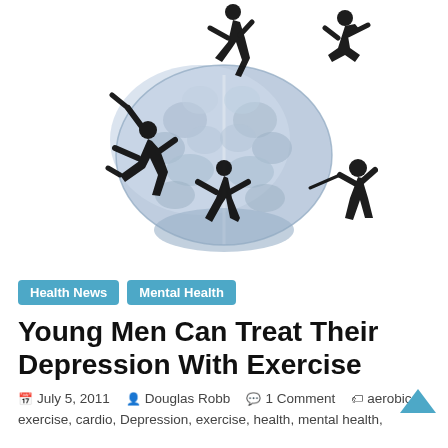[Figure (illustration): A 3D rendered human brain (silver/blue toned) surrounded by black silhouettes of people in various athletic poses — running, jumping, dancing, golfing, exercising.]
Health News   Mental Health
Young Men Can Treat Their Depression With Exercise
July 5, 2011   Douglas Robb   1 Comment   aerobic
exercise, cardio, Depression, exercise, health, mental health,